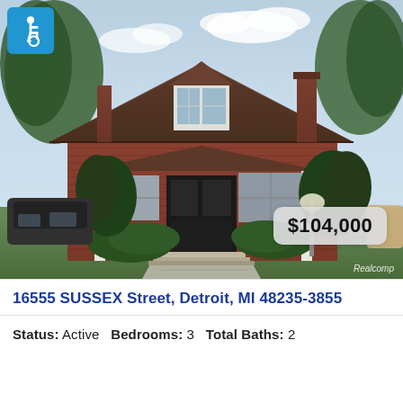[Figure (photo): Exterior photo of a brick Cape Cod style house with brown shingle roof, dormer window, front porch with columns, hedges, and a concrete walkway. An accessibility icon (wheelchair symbol on blue background) appears in the top-left corner. A price badge showing $104,000 appears in the lower-right area. Realcomp watermark in bottom-right corner.]
16555 SUSSEX Street, Detroit, MI 48235-3855
Status: Active  Bedrooms: 3  Total Baths: 2